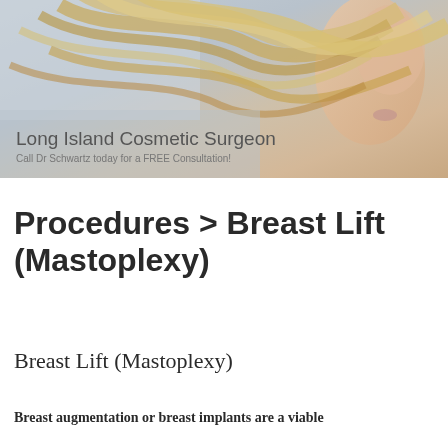[Figure (photo): Banner photo of a woman with flowing blonde hair on a light blue-grey background, with text overlay reading 'Long Island Cosmetic Surgeon' and 'Call Dr Schwartz today for a FREE Consultation!']
Procedures > Breast Lift (Mastoplexy)
Breast Lift (Mastoplexy)
Breast augmentation or breast implants are a viable